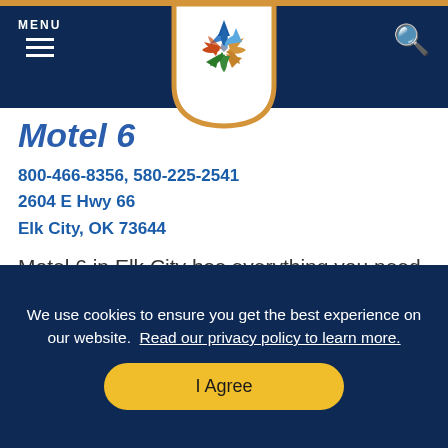MENU
[Figure (logo): Colorful star/pinwheel logo in a shield/badge shape with gold border, on white background]
Motel 6
800-466-8356, 580-225-2541
2604 E Hwy 66
Elk City, OK 73644
Motel 6 in Elk City has everything you need for a comfortable stay. Conveniently located near shopping and dining off Route...
LEARN MORE >
We use cookies to ensure you get the best experience on our website. Read our privacy policy to learn more.
I Agree